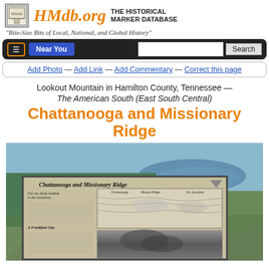HMdb.org THE HISTORICAL MARKER DATABASE
"Bite-Size Bits of Local, National, and Global History"
Near You | Search
Add Photo — Add Link — Add Commentary — Correct this page
Lookout Mountain in Hamilton County, Tennessee — The American South (East South Central)
Chattanooga and Missionary Ridge
[Figure (photo): Aerial photograph behind a historical marker board titled 'Chattanooga and Missionary Ridge' showing text panels and a map, with a river and forested landscape in the background.]